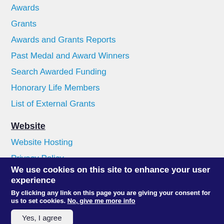Awards
Grants
Awards and Grants Reports
Past Medal and Award Winners
Search Awarded Funding
Honorary Life Members
List of External Grants
Website
Website Hosting
Privacy Policy
Terms and Conditions of Use
Website Site Map
We use cookies on this site to enhance your user experience
By clicking any link on this page you are giving your consent for us to set cookies. No, give me more info
Yes, I agree